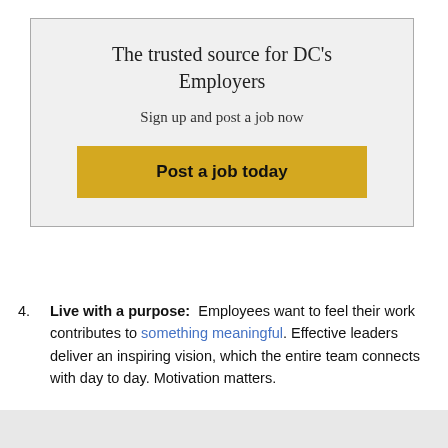[Figure (infographic): Advertisement box with light gray background and border. Contains heading 'The trusted source for DC’s Employers', subheading 'Sign up and post a job now', and a yellow button labeled 'Post a job today'.]
4. Live with a purpose:  Employees want to feel their work contributes to something meaningful. Effective leaders deliver an inspiring vision, which the entire team connects with day to day. Motivation matters.
5. Build community:  Neuroscience teaches us the importance people place on feeling accepted and safe in